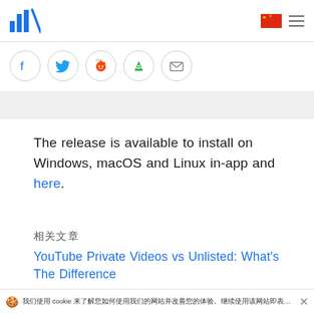Initio (logo) | CN flag | menu
[Figure (other): Social share buttons row: Facebook, Twitter, Reddit, Feedly, Email — each in a circle outline]
The release is available to install on Windows, macOS and Linux in-app and here.
相关文章
YouTube Private Videos vs Unlisted: What's The Difference
🍪 我们使用 cookie 来了解您如何使用我们的网站并改善您的体验。继续使用该网站即表示您接受我们使用cookie。 了解更多 ×